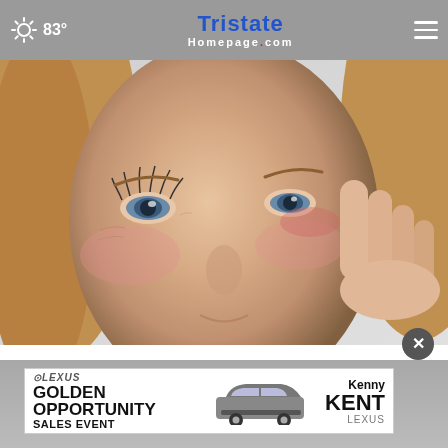83° | TristateHomepage.com
[Figure (photo): Close-up of a middle-aged woman with blonde hair touching the area under her eye with her right hand, looking upward]
Doctors Stunned: This Removes Wrinkles Like Crazy
Brilliance
[Figure (photo): Lexus Golden Opportunity Sales Event advertisement banner featuring a Lexus SUV and Kenny Kent Lexus branding]